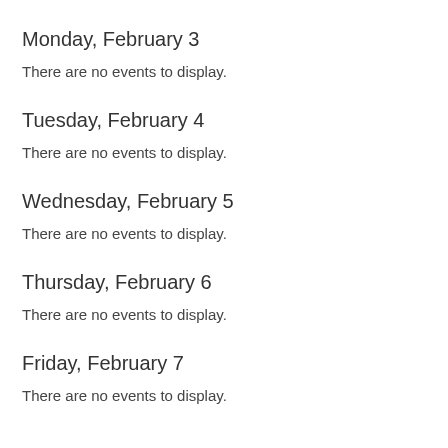Monday, February 3
There are no events to display.
Tuesday, February 4
There are no events to display.
Wednesday, February 5
There are no events to display.
Thursday, February 6
There are no events to display.
Friday, February 7
There are no events to display.